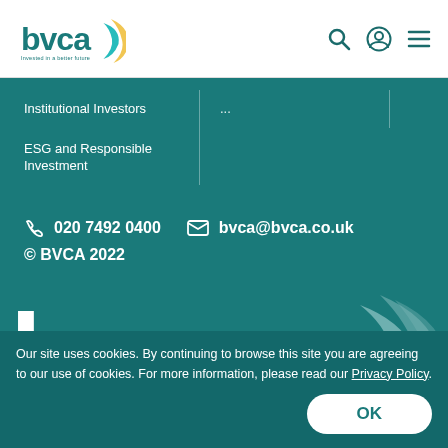BVCA - Invested in a better future
Institutional Investors
ESG and Responsible Investment
020 7492 0400    bvca@bvca.co.uk
© BVCA 2022
[Figure (logo): Large BVCA logo in white on teal background]
Our site uses cookies. By continuing to browse this site you are agreeing to our use of cookies. For more information, please read our Privacy Policy.